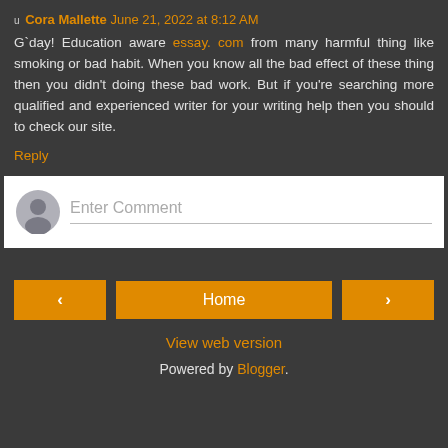Cora Mallette  June 21, 2022 at 8:12 AM
G`day! Education aware essay. com from many harmful thing like smoking or bad habit. When you know all the bad effect of these thing then you didn't doing these bad work. But if you're searching more qualified and experienced writer for your writing help then you should to check our site.
Reply
[Figure (other): Enter Comment input field with a user avatar icon on the left]
[Figure (other): Navigation buttons: left arrow, Home button, right arrow]
View web version
Powered by Blogger.